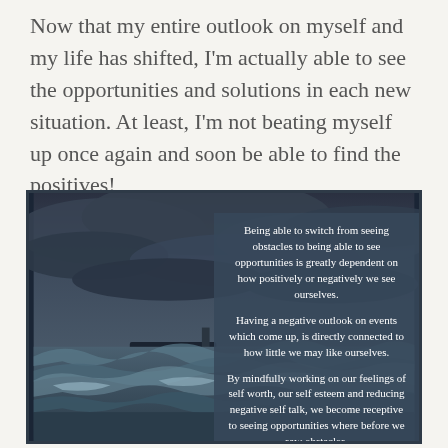Now that my entire outlook on myself and my life has shifted, I'm actually able to see the opportunities and solutions in each new situation. At least, I'm not beating myself up once again and soon be able to find the positives!
[Figure (photo): Dark stormy ocean scene with large waves crashing against a sea wall or pier. Dramatic storm clouds fill the sky. Overlaid on the right side is a dark semi-transparent box containing three paragraphs of motivational text about self-perception and opportunities.]